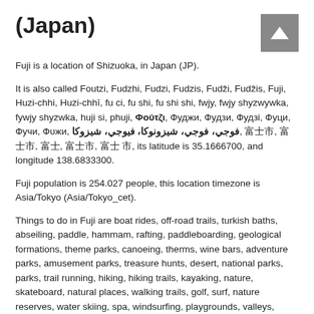(Japan)
Fuji is a location of Shizuoka, in Japan (JP).
It is also called Foutzi, Fudzhi, Fudzi, Fudzis, Fudži, Fudžis, Fuji, Huzi-chhi, Huzi-chhī, fu ci, fu shi, fu shi shi, fwjy, fwjy shyzwywka, fywjy shyzwka, huji si, phuji, Φούτζι, Фуджи, Фудзи, Фудзі, Фуци, Фучи, Фυжи, فوجي، فوجي، شيزونوكا, فيوجي، شيزوكا, 富士, 富士市, 富士, 富士市, 富士 市, its latitude is 35.1666700, and longitude 138.6833300.
Fuji population is 254.027 people, this location timezone is Asia/Tokyo (Asia/Tokyo_cet).
Things to do in Fuji are boat rides, off-road trails, turkish baths, abseiling, paddle, hammam, rafting, paddleboarding, geological formations, theme parks, canoeing, therms, wine bars, adventure parks, amusement parks, treasure hunts, desert, national parks, parks, trail running, hiking, hiking trails, kayaking, nature, skateboard, natural places, walking trails, golf, surf, nature reserves, water skiing, spa, windsurfing, playgrounds, valleys, scuba